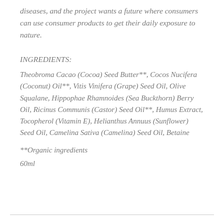diseases, and the project wants a future where consumers can use consumer products to get their daily exposure to nature.
INGREDIENTS:
Theobroma Cacao (Cocoa) Seed Butter**, Cocos Nucifera (Coconut) Oil**, Vitis Vinifera (Grape) Seed Oil, Olive Squalane, Hippophae Rhamnoides (Sea Buckthorn) Berry Oil, Ricinus Communis (Castor) Seed Oil**, Humus Extract, Tocopherol (Vitamin E), Helianthus Annuus (Sunflower) Seed Oil, Camelina Sativa (Camelina) Seed Oil, Betaine
**Organic ingredients
60ml